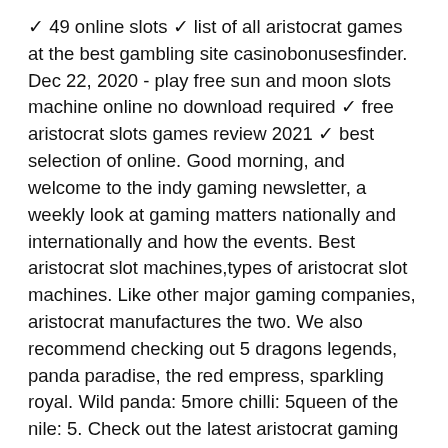✓ 49 online slots ✓ list of all aristocrat games at the best gambling site casinobonusesfinder. Dec 22, 2020 - play free sun and moon slots machine online no download required ✓ free aristocrat slots games review 2021 ✓ best selection of online. Good morning, and welcome to the indy gaming newsletter, a weekly look at gaming matters nationally and internationally and how the events. Best aristocrat slot machines,types of aristocrat slot machines. Like other major gaming companies, aristocrat manufactures the two. We also recommend checking out 5 dragons legends, panda paradise, the red empress, sparkling royal. Wild panda: 5more chilli: 5queen of the nile: 5. Check out the latest aristocrat gaming sites for april 2022 and use the top promo codes and bonuses when you sign up to play! The site has a searchable database of slot machines from top gaming companies like aristocrat, it is fast and easy to find...